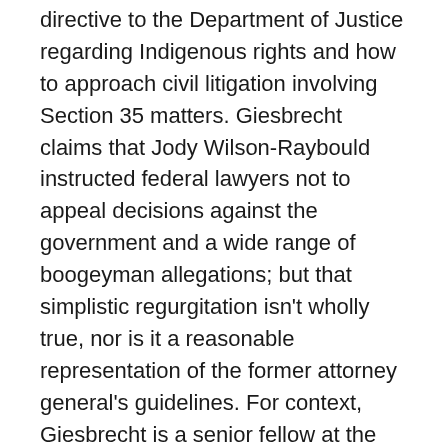directive to the Department of Justice regarding Indigenous rights and how to approach civil litigation involving Section 35 matters. Giesbrecht claims that Jody Wilson-Raybould instructed federal lawyers not to appeal decisions against the government and a wide range of boogeyman allegations; but that simplistic regurgitation isn't wholly true, nor is it a reasonable representation of the former attorney general's guidelines. For context, Giesbrecht is a senior fellow at the Frontier Centre for Public Policy – a known Conservative institution. He also published in Troy Media, that plainly states it is a Conservative operation. (original + archive)
Of note, Giesbrecht was formerly criticized for a racist attack on Indigenous peoples in prior mainstream media